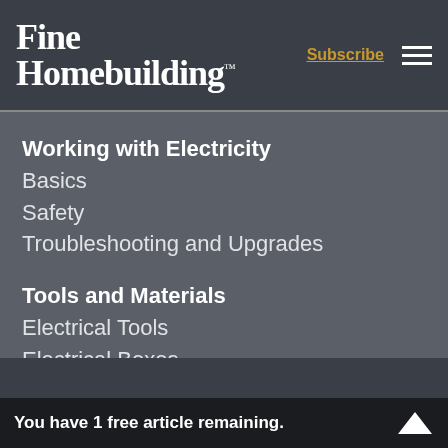Fine Homebuilding™
Working with Electricity
Basics
Safety
Troubleshooting and Upgrades
Tools and Materials
Electrical Tools
Electrical Boxes
Cables and Wires
Receptacles and Switches
Materials
You have 1 free article remaining.